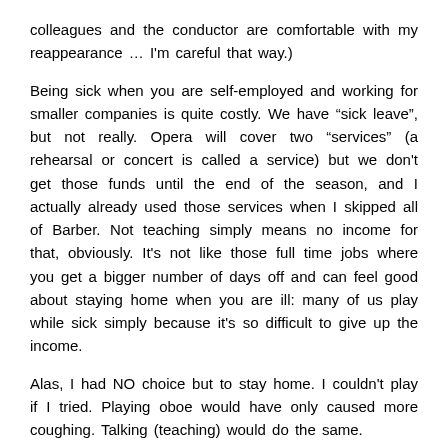colleagues and the conductor are comfortable with my reappearance … I'm careful that way.)
Being sick when you are self-employed and working for smaller companies is quite costly. We have “sick leave”, but not really. Opera will cover two “services” (a rehearsal or concert is called a service) but we don't get those funds until the end of the season, and I actually already used those services when I skipped all of Barber. Not teaching simply means no income for that, obviously. It's not like those full time jobs where you get a bigger number of days off and can feel good about staying home when you are ill: many of us play while sick simply because it's so difficult to give up the income.
Alas, I had NO choice but to stay home. I couldn't play if I tried. Playing oboe would have only caused more coughing. Talking (teaching) would do the same.
Think of those who miss months of work. I sure do. I have had friends who have been out for longer periods of time, and for more